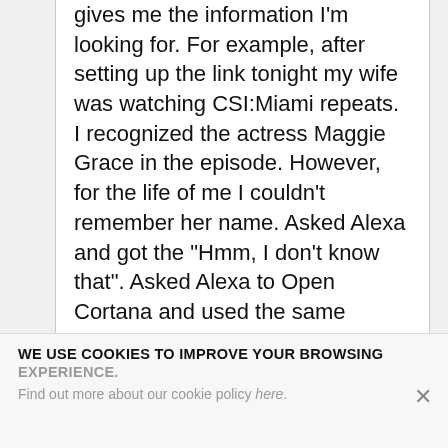gives me the information I'm looking for. For example, after setting up the link tonight my wife was watching CSI:Miami repeats. I recognized the actress Maggie Grace in the episode. However, for the life of me I couldn't remember her name. Asked Alexa and got the "Hmm, I don't know that". Asked Alexa to Open Cortana and used the same phrase, "Who played Liam Niessen's daughter in the Taken Movies", Cortana came back with a complete cast listing and I got her name. That's just today's example, I use that feature a lot with my PC, but now I don't have to lug my Surface from room to room, I can just get Cortana. Yay!
WE USE COOKIES TO IMPROVE YOUR BROWSING EXPERIENCE. Find out more about our cookie policy here.